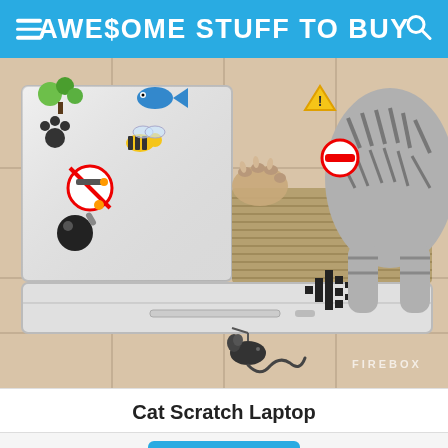AWE$OME STUFF TO BUY
[Figure (photo): A cat scratching a cardboard laptop-shaped scratcher toy on a tiled floor. The cardboard box is shaped like a laptop with various fun stickers on it including a no-smoking sign, bee, paw prints, and others. A cat's paw is visible using the corrugated cardboard scratch pad. A toy mouse is attached by a string at the base. The FIREBOX watermark appears in the lower right. The product is called Cat Scratch Laptop.]
Cat Scratch Laptop